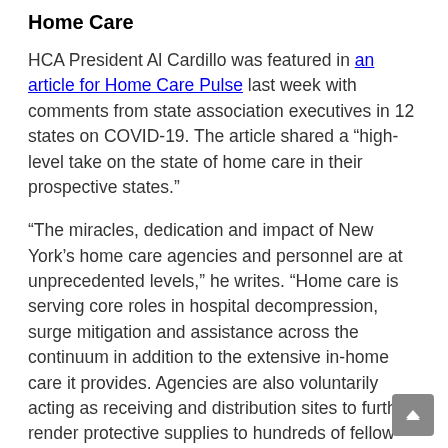Home Care
HCA President Al Cardillo was featured in an article for Home Care Pulse last week with comments from state association executives in 12 states on COVID-19. The article shared a “high-level take on the state of home care in their prospective states.”
“The miracles, dedication and impact of New York’s home care agencies and personnel are at unprecedented levels,” he writes. “Home care is serving core roles in hospital decompression, surge mitigation and assistance across the continuum in addition to the extensive in-home care it provides. Agencies are also voluntarily acting as receiving and distribution sites to further render protective supplies to hundreds of fellow agencies in cases where, stunningly, no formal structure was